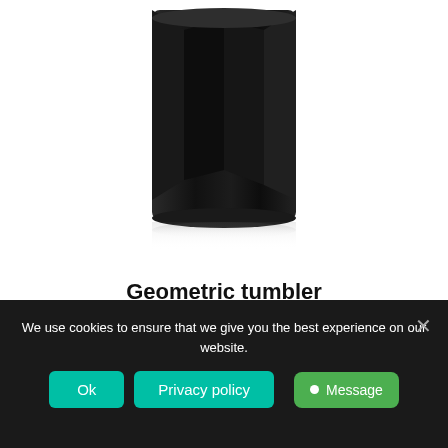[Figure (photo): Photo of a black geometric faceted tumbler/cup, cropped to show bottom portion against white background with subtle reflection]
Geometric tumbler
Select options
We use cookies to ensure that we give you the best experience on our website.